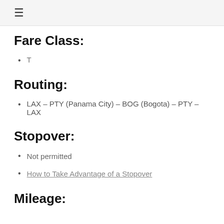≡
Fare Class:
T
Routing:
LAX – PTY (Panama City) – BOG (Bogota) – PTY – LAX
Stopover:
Not permitted
How to Take Advantage of a Stopover
Mileage: